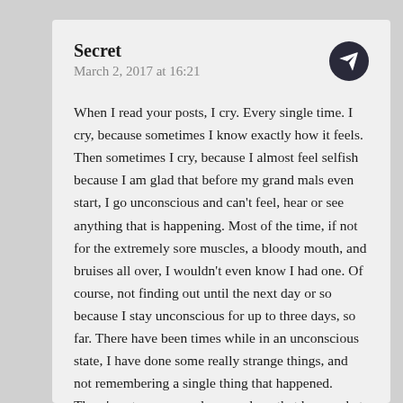Secret
March 2, 2017 at 16:21
When I read your posts, I cry. Every single time. I cry, because sometimes I know exactly how it feels. Then sometimes I cry, because I almost feel selfish because I am glad that before my grand mals even start, I go unconscious and can't feel, hear or see anything that is happening. Most of the time, if not for the extremely sore muscles, a bloody mouth, and bruises all over, I wouldn't even know I had one. Of course, not finding out until the next day or so because I stay unconscious for up to three days, so far. There have been times while in an unconscious state, I have done some really strange things, and not remembering a single thing that happened. There's not many people around me that know what Epilepsy is let alone understand it and what it does. Thank you for this blog. It really helps me get through the days that I just feel so alone. The days that I